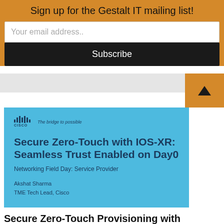Sign up for the Gestalt IT mailing list!
Your email address..
Subscribe
[Figure (screenshot): Cisco presentation slide with blue background showing: Cisco logo with tagline 'The bridge to possible', title 'Secure Zero-Touch with IOS-XR: Seamless Trust Enabled on Day0', subtitle 'Networking Field Day: Service Provider', author 'Akshat Sharma, TME Tech Lead, Cisco']
Secure Zero-Touch Provisioning with Cisco's New Implementation on IOS XR